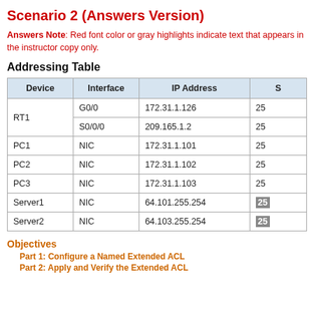Scenario 2 (Answers Version)
Answers Note: Red font color or gray highlights indicate text that appears in the instructor copy only.
Addressing Table
| Device | Interface | IP Address | Subnet Mask |
| --- | --- | --- | --- |
| RT1 | G0/0 | 172.31.1.126 | 25... |
|  | S0/0/0 | 209.165.1.2 | 25... |
| PC1 | NIC | 172.31.1.101 | 25... |
| PC2 | NIC | 172.31.1.102 | 25... |
| PC3 | NIC | 172.31.1.103 | 25... |
| Server1 | NIC | 64.101.255.254 | 25 |
| Server2 | NIC | 64.103.255.254 | 25 |
Objectives
Part 1: Configure a Named Extended ACL
Part 2: Apply and Verify the Extended ACL